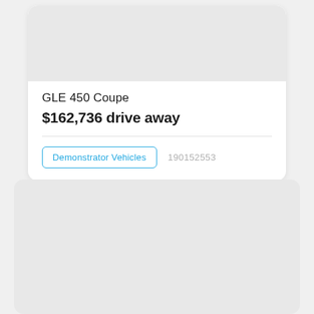[Figure (photo): Gray placeholder image area at top of vehicle listing card]
GLE 450 Coupe
$162,736 drive away
Demonstrator Vehicles  190152553
[Figure (photo): Second card with gray placeholder image area]